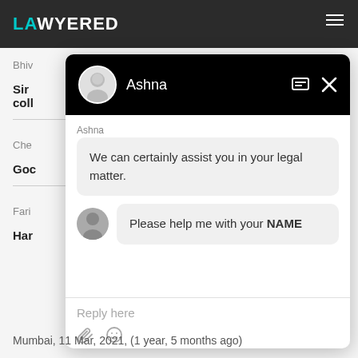[Figure (screenshot): Screenshot of a legal services website (Lawyered) with a live chat modal overlay. The chat shows a conversation between 'Ashna' (legal assistant) and a user. The header is dark/black with the Lawyered logo. The chat modal has a black header showing Ashna's avatar and name, with message and close icons. The chat body shows Ashna's message 'We can certainly assist you in your legal matter.' and a user message 'Please help me with your NAME'. The footer has a 'Reply here' placeholder and attachment/emoji icons.]
Mumbai,  11 Mar, 2021,  (1 year, 5 months ago)